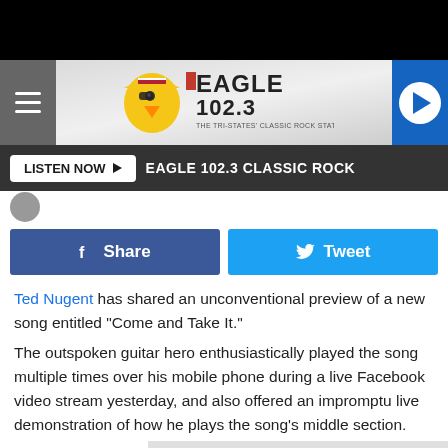[Figure (screenshot): Eagle 102.3 Classic Rock radio station website header with logo, hamburger menu, and play button]
LISTEN NOW ▶  EAGLE 102.3 CLASSIC ROCK
[Figure (screenshot): Share and Tweet social media buttons]
Ted Nugent has shared an unconventional preview of a new song entitled "Come and Take It."
The outspoken guitar hero enthusiastically played the song multiple times over his mobile phone during a live Facebook video stream yesterday, and also offered an impromptu live demonstration of how he plays the song's middle section.
You ca... He is also a... ...s